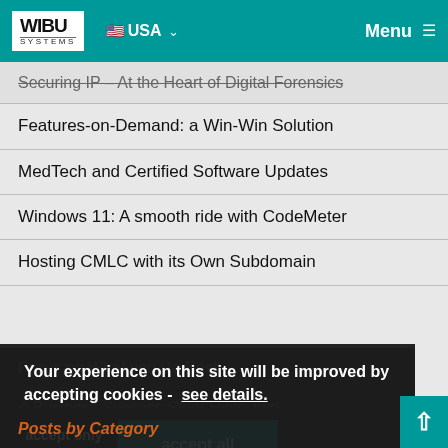WIBU SYSTEMS | USA | Menu
Securing IP – At the Heart of Digital Forensics
Features-on-Demand: a Win-Win Solution
MedTech and Certified Software Updates
Windows 11: A smooth ride with CodeMeter
Hosting CMLC with its Own Subdomain
Focus on What you Do Best
A Business Success Story Hints Two
A Critical Mandate for a Hybrid Workforce
Your experience on this site will be improved by accepting cookies - see details.
accept only necessary
accept all
Posts by Category